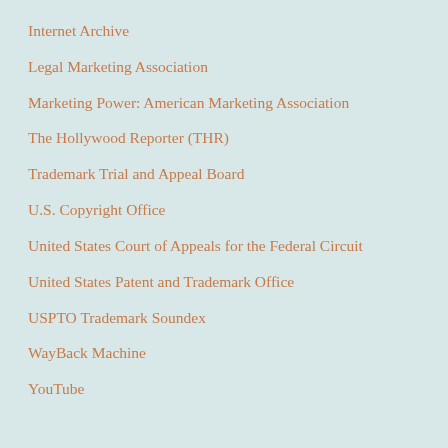Internet Archive
Legal Marketing Association
Marketing Power: American Marketing Association
The Hollywood Reporter (THR)
Trademark Trial and Appeal Board
U.S. Copyright Office
United States Court of Appeals for the Federal Circuit
United States Patent and Trademark Office
USPTO Trademark Soundex
WayBack Machine
YouTube